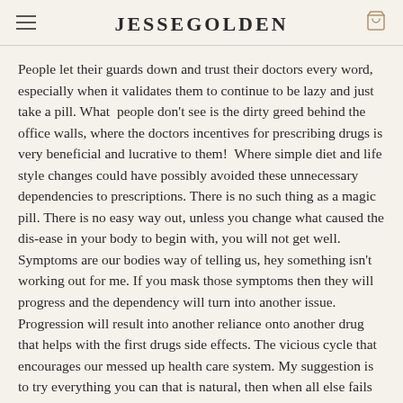JESSEGOLDEN
People let their guards down and trust their doctors every word, especially when it validates them to continue to be lazy and just take a pill. What people don't see is the dirty greed behind the office walls, where the doctors incentives for prescribing drugs is very beneficial and lucrative to them! Where simple diet and life style changes could have possibly avoided these unnecessary dependencies to prescriptions. There is no such thing as a magic pill. There is no easy way out, unless you change what caused the dis-ease in your body to begin with, you will not get well. Symptoms are our bodies way of telling us, hey something isn't working out for me. If you mask those symptoms then they will progress and the dependency will turn into another issue. Progression will result into another reliance onto another drug that helps with the first drugs side effects. The vicious cycle that encourages our messed up health care system. My suggestion is to try everything you can that is natural, then when all else fails you